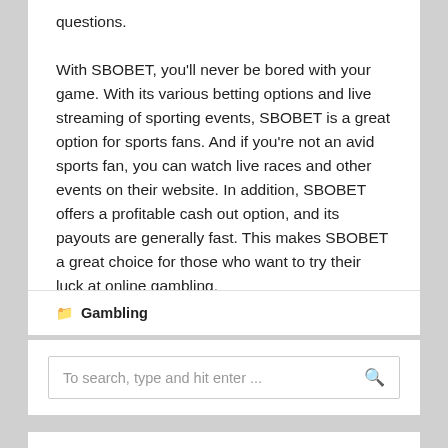questions.

With SBOBET, you'll never be bored with your game. With its various betting options and live streaming of sporting events, SBOBET is a great option for sports fans. And if you're not an avid sports fan, you can watch live races and other events on their website. In addition, SBOBET offers a profitable cash out option, and its payouts are generally fast. This makes SBOBET a great choice for those who want to try their luck at online gambling.
Gambling
To search, type and hit enter ...